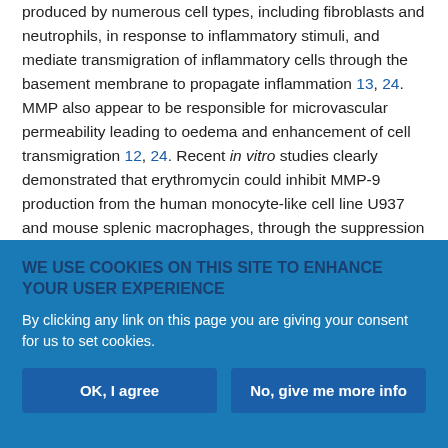produced by numerous cell types, including fibroblasts and neutrophils, in response to inflammatory stimuli, and mediate transmigration of inflammatory cells through the basement membrane to propagate inflammation 13, 24. MMP also appear to be responsible for microvascular permeability leading to oedema and enhancement of cell transmigration 12, 24. Recent in vitro studies clearly demonstrated that erythromycin could inhibit MMP-9 production from the human monocyte-like cell line U937 and mouse splenic macrophages, through the suppression of MMP-9 mRNA expression 15. This suppressive activity of erythromycin on MMP-9 is also reported to correlate well with the inhibitory action of this
WE USE COOKIES ON THIS SITE TO ENHANCE YOUR USER EXPERIENCE
By clicking any link on this page you are giving your consent for us to set cookies.